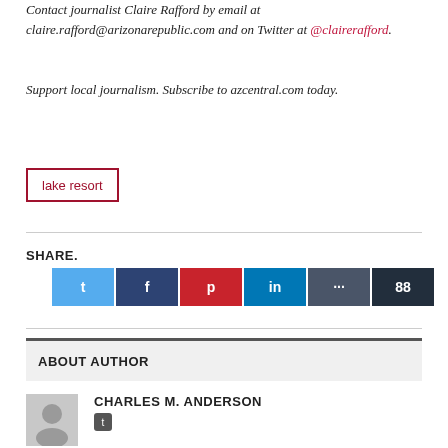Contact journalist Claire Rafford by email at claire.rafford@arizonarepublic.com and on Twitter at @clairerafford.
Support local journalism. Subscribe to azcentral.com today.
lake resort
SHARE.
[Figure (infographic): Row of social media share buttons: Twitter (light blue), Facebook (dark blue), Pinterest (red), LinkedIn (blue), more (dark gray), share count (very dark navy) showing 88]
ABOUT AUTHOR
CHARLES M. ANDERSON